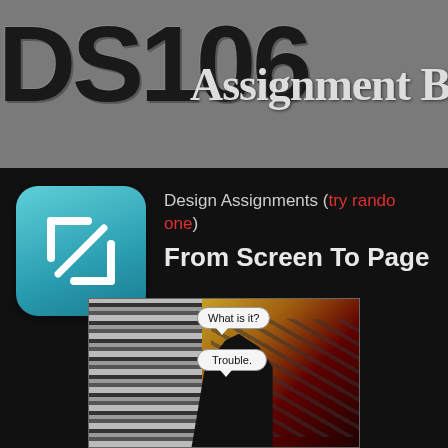[Figure (screenshot): DS106 Assignment Bank website header banner showing 'DS106' in large distressed block letters and 'Assignment Ba' (Bank) in serif text on a gray background]
Design Assignments (try random one)
From Screen To Page
[Figure (illustration): Comic-style image with venetian blinds on left, two figures on right with speech bubbles reading 'What is it?' and 'Trouble.']